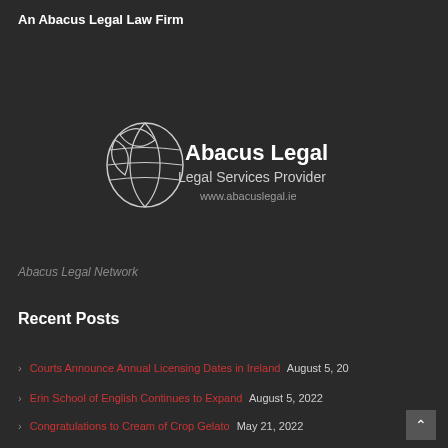An Abacus Legal Law Firm
[Figure (logo): Abacus Legal logo with globe/leaf icon, text 'Abacus Legal', subtitle 'Legal Services Provider', url 'www.abacuslegal.ie']
Abacus Legal Network
Recent Posts
Courts Announce Annual Licensing Dates in Ireland August 5, 20
Erin School of English Continues to Expand August 5, 2022
Congratulations to Cream of Crop Gelato May 21, 2022